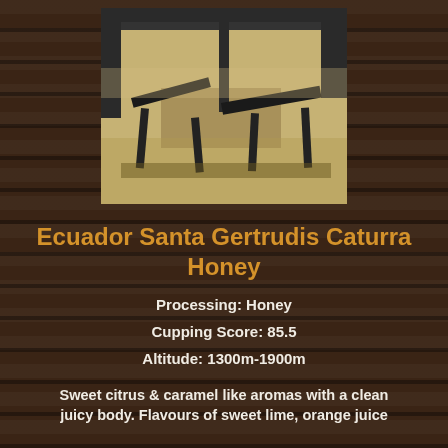[Figure (photo): Photograph of coffee drying beds with metal frame structure, showing coffee beans spread out to dry in sunlight]
Ecuador Santa Gertrudis Caturra Honey
Processing: Honey
Cupping Score: 85.5
Altitude: 1300m-1900m
Sweet citrus & caramel like aromas with a clean juicy body. Flavours of sweet lime, orange juice